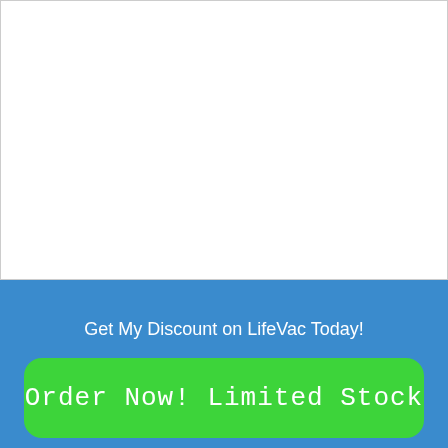[Figure (other): White rectangular area representing an image placeholder at the top of the page]
LifeVac creates a seal around the victim's mouth, which creates a vacuum. In most cases, the object will be removed on
Get My Discount on LifeVac Today!
Order Now! Limited Stock